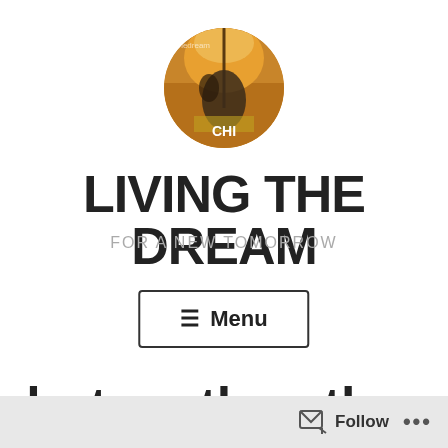[Figure (photo): Circular profile photo showing a person in a field at sunset with orange/golden tones, with text overlay 'CHI' at the bottom]
LIVING THE DREAM
FOR A NEW TOMORROW
☰ Menu
but on the other hand
Follow ...